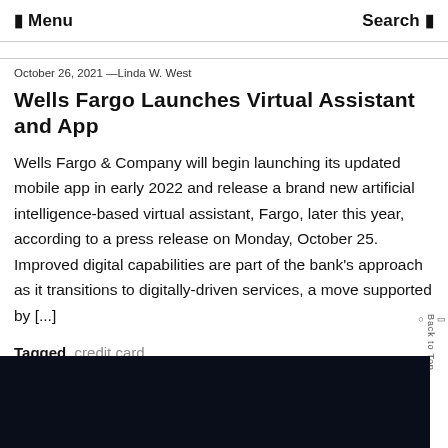☰ Menu    Search 🔍
October 26, 2021 —Linda W. West
Wells Fargo Launches Virtual Assistant and App
Wells Fargo & Company will begin launching its updated mobile app in early 2022 and release a brand new artificial intelligence-based virtual assistant, Fargo, later this year, according to a press release on Monday, October 25. Improved digital capabilities are part of the bank's approach as it transitions to digitally-driven services, a move supported by [...]
Tagged  credit card
Discover  ❯
[Figure (photo): Dark blue/navy background image strip at the bottom of the page]